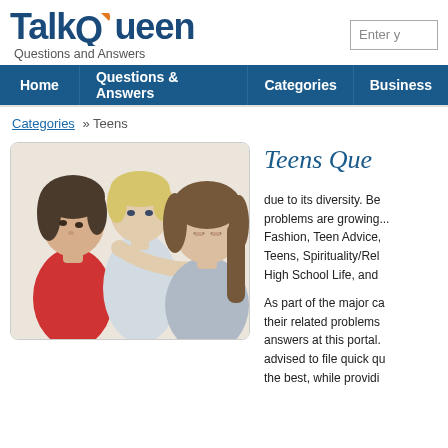TalkQueen — Questions and Answers
Home | Questions & Answers | Categories | Business
Categories » Teens
[Figure (photo): Three children/teens looking down at something together — two girls and a boy, one wearing a red top]
Teens Que...
due to its diversity. Be... problems are growing... Fashion, Teen Advice,... Teens, Spirituality/Rel... High School Life, and...
As part of the major ca... their related problems... answers at this portal.... advised to file quick qu... the best, while providi...